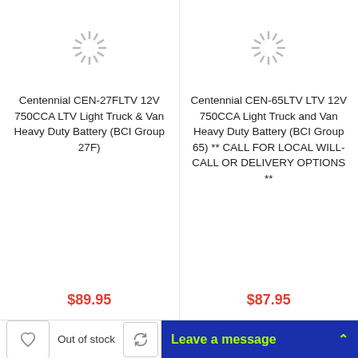[Figure (other): Loading spinner icon for left product]
Centennial CEN-27FLTV 12V 750CCA LTV Light Truck & Van Heavy Duty Battery (BCI Group 27F)
$89.95
[Figure (other): Loading spinner icon for right product]
Centennial CEN-65LTV LTV 12V 750CCA Light Truck and Van Heavy Duty Battery (BCI Group 65) ** CALL FOR LOCAL WILL-CALL OR DELIVERY OPTIONS **
$87.95
Out of stock
Leave a message